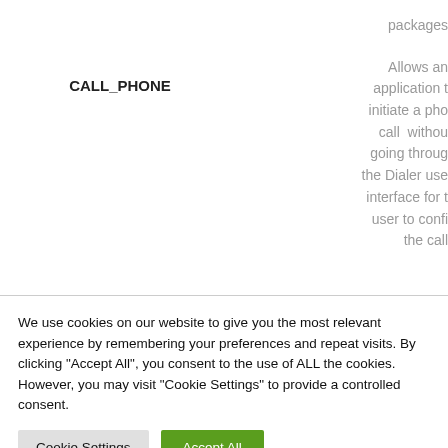|  | packages |
| CALL_PHONE | Allows an application to initiate a phone call without going through the Dialer user interface for user to confirm the call |
We use cookies on our website to give you the most relevant experience by remembering your preferences and repeat visits. By clicking "Accept All", you consent to the use of ALL the cookies. However, you may visit "Cookie Settings" to provide a controlled consent.